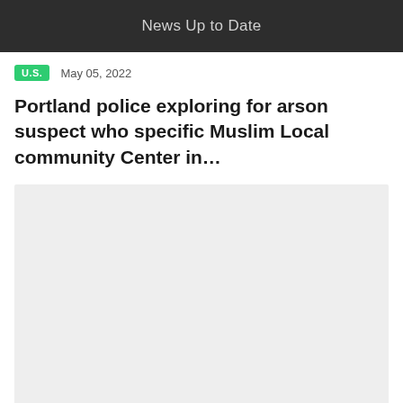News Up to Date
U.S.  May 05, 2022
Portland police exploring for arson suspect who specific Muslim Local community Center in…
[Figure (photo): Light gray image placeholder rectangle below the article title]